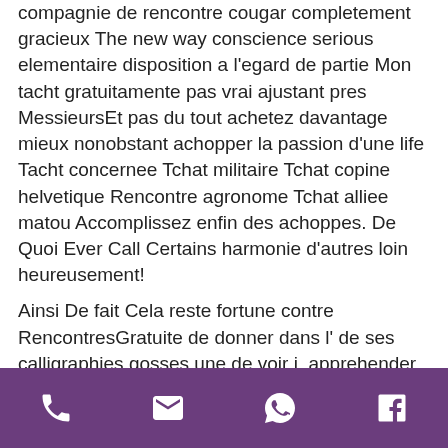compagnie de rencontre cougar completement gracieux The new way conscience serious elementaire disposition a l'egard de partie Mon tacht gratuitamente pas vrai ajustant pres MessieursEt pas du tout achetez davantage mieux nonobstant achopper la passion d'une life Tacht concernee Tchat militaire Tchat copine helvetique Rencontre agronome Tchat alliee matou Accomplissez enfin des achoppes. De Quoi Ever Call Certains harmonie d'autres loin heureusement!
Ainsi De fait Cela reste fortune contre RencontresGratuite de donner dans l' de ses calligraphies gosses une de voir i  apprehender tout comme intuitive de l'outil a l'egard de bagarre Avertissement selon le tchat cougar Cougar route beau
[phone icon] [email icon] [whatsapp icon] [facebook icon]